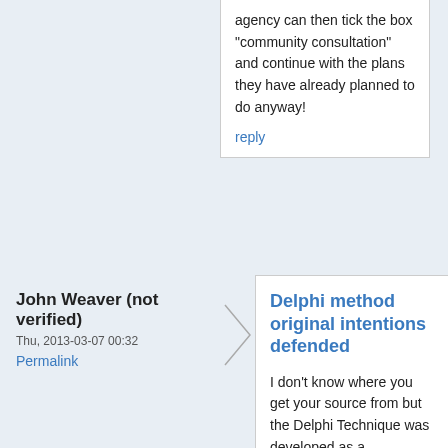agency can then tick the box "community consultation" and continue with the plans they have already planned to do anyway!
reply
John Weaver (not verified)
Thu, 2013-03-07 00:32
Permalink
Delphi method original intentions defended
I don't know where you get your source from but the Delphi Technique was developed as a forecasting method for new and emerging technology and was used extensively by AT&T in the US in 60's (among others). It successfully forecast pretty much all of our communication systems and gadgets developed since then. (see http://en.wikipedia.org/wiki/Delphi_me for a summary) As a 'management method' it doesn't deserve the abuse heaped on it in your article. If its been 'bastardardised' by users over the ye